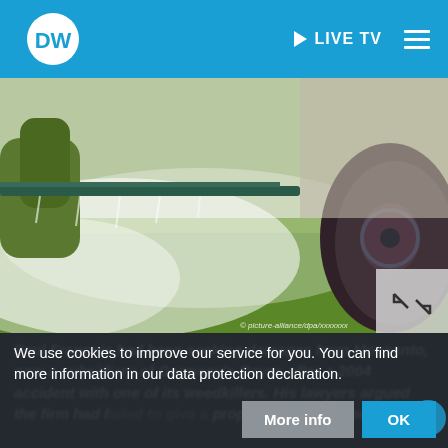DW | LIVE TV
[Figure (photo): Tractor spraying herbicide/pesticide over green field, with mist visible. Picture-alliance credit shown.]
Paul Francois had been seeking damages from Monsanto, now a subsidiary of Germany's Bayer, after a 2004 accident with one of its weedkillers. His lawyers argued the firm had failed to give a proper warning of the
We use cookies to improve our service for you. You can find more information in our data protection declaration.
More info
OK